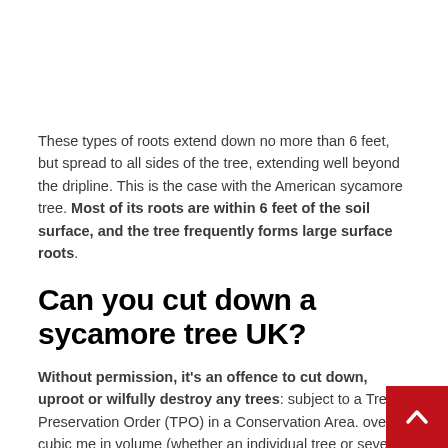These types of roots extend down no more than 6 feet, but spread to all sides of the tree, extending well beyond the dripline. This is the case with the American sycamore tree. Most of its roots are within 6 feet of the soil surface, and the tree frequently forms large surface roots.
Can you cut down a sycamore tree UK?
Without permission, it's an offence to cut down, uproot or wilfully destroy any trees: subject to a Tree Preservation Order (TPO) in a Conservation Area. over 5 cubic me in volume (whether an individual tree or several sma trees).